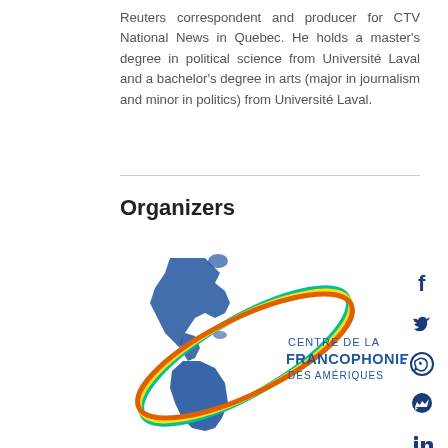Reuters correspondent and producer for CTV National News in Quebec. He holds a master's degree in political science from Université Laval and a bachelor's degree in arts (major in journalism and minor in politics) from Université Laval.
Organizers
[Figure (logo): Centre de la Francophonie des Amériques logo — blue map of the Americas with colourful orbital ring and organization name text]